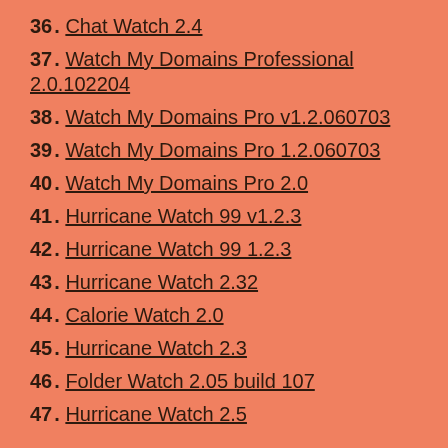36. Chat Watch 2.4
37. Watch My Domains Professional 2.0.102204
38. Watch My Domains Pro v1.2.060703
39. Watch My Domains Pro 1.2.060703
40. Watch My Domains Pro 2.0
41. Hurricane Watch 99 v1.2.3
42. Hurricane Watch 99 1.2.3
43. Hurricane Watch 2.32
44. Calorie Watch 2.0
45. Hurricane Watch 2.3
46. Folder Watch 2.05 build 107
47. Hurricane Watch 2.5